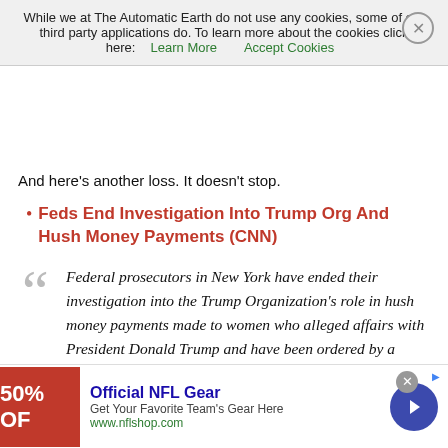While we at The Automatic Earth do not use any cookies, some of our third party applications do. To learn more about the cookies click here: Learn More   Accept Cookies
And here’s another loss. It doesn’t stop.
• Feds End Investigation Into Trump Org And Hush Money Payments (CNN)
Federal prosecutors in New York have ended their investigation into the Trump Organization’s role in hush money payments made to women who alleged affairs with President Donald Trump and have been ordered by a judge to release additional information connected to their related probe of former Trump lawyer Michael Cohen, according to court documents filed Wednesday. CNN reported Friday that the Manhattan US Attorney’s office had approached the end of its investigation of the Trump Organization and wasn’t poised to charge any executives involved in the company’s effort to reimburse Cohen
[Figure (infographic): Advertisement banner for Official NFL Gear showing 50% OFF on red background, with text 'Official NFL Gear - Get Your Favorite Team’s Gear Here - www.nflshop.com' and a blue circular arrow button]